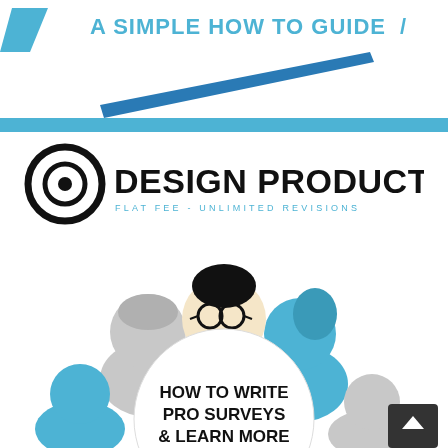[Figure (illustration): Header graphic with blue diagonal slash chevron shape on left, text 'A SIMPLE HOW TO GUIDE' in blue with slash on right, large blue diagonal line/arrow pointing right below]
[Figure (logo): Design Productive logo: circular target/spiral icon in black, text 'DESIGN PRODUCTIVE' in bold black uppercase, subtitle 'FLAT FEE - UNLIMITED REVISIONS' in light blue spaced caps]
[Figure (illustration): Illustration of three cartoon people around a white circle: center figure is a man with glasses and bow tie (black), left figure is a woman with gray hair, right figure is a woman with blue hair. Lower left is a blue figure. Inside the white circle text reads 'HOW TO WRITE PRO SURVEYS & LEARN MORE'. Small dark square with up arrow in bottom right corner.]